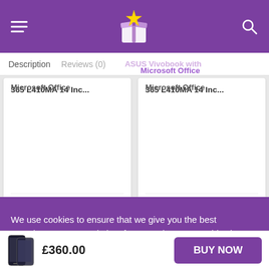[Figure (screenshot): Purple website header with hamburger menu, star-in-box logo, and search icon]
Description  Reviews (0)
ASUS Vivobook with Microsoft Office 365 L410MA 14 Inc...
ASUS Vivobook with Microsoft Office 365 L410MA 14 Inc...
£199.99  ↓ 20%
£199.99  ↓ 20%
Follow us
We use cookies to ensure that we give you the best experience on our website. If you continue to use this site we will assume that you are happy with it.
£360.00
BUY NOW